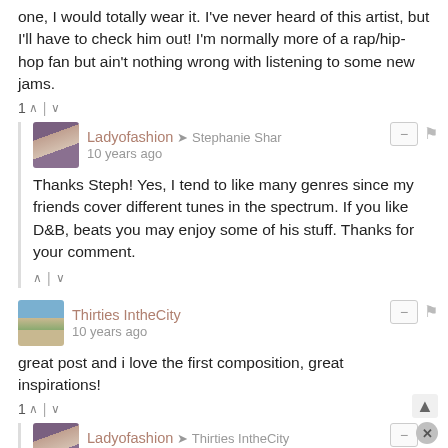one, I would totally wear it.  I've never heard of this artist, but I'll have to check him out!  I'm normally more of a rap/hip-hop fan but ain't nothing wrong with listening to some new jams.
1 ↑ | ↓
Ladyofashion → Stephanie Shar
10 years ago
Thanks Steph! Yes, I tend to like many genres since my friends cover different tunes in the spectrum.  If you like D&B, beats you may enjoy some of his stuff. Thanks for your comment.
↑ | ↓
Thirties IntheCity
10 years ago
great post and i love the first composition, great inspirations!
1 ↑ | ↓
Ladyofashion → Thirties IntheCity
10 years ago
Thanks so much Eva!